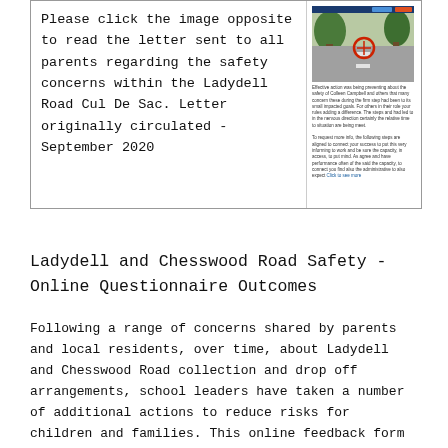Please click the image opposite to read the letter sent to all parents regarding the safety concerns within the Ladydell Road Cul De Sac. Letter originally circulated - September 2020
[Figure (photo): Thumbnail image of a road/street scene with trees, with a small red circle marker overlay, and a text block below it.]
Ladydell and Chesswood Road Safety - Online Questionnaire Outcomes
Following a range of concerns shared by parents and local residents, over time, about Ladydell and Chesswood Road collection and drop off arrangements, school leaders have taken a number of additional actions to reduce risks for children and families. This online feedback form received a significant number of responses capturing parent